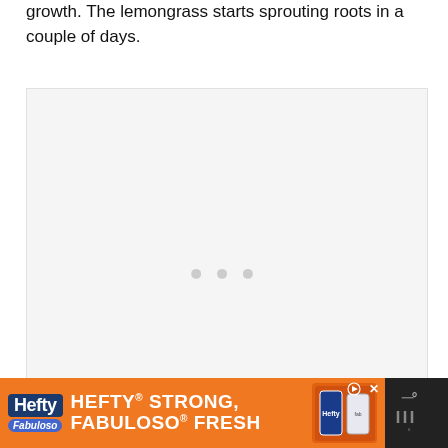growth. The lemongrass starts sprouting roots in a couple of days.
[Figure (other): Large light gray placeholder image area with three gray dots in the center indicating a loading or carousel image placeholder]
[Figure (other): Advertisement banner for Hefty and Fabuloso products on dark background. Orange ad with Hefty logo, Fabuloso logo, text reading HEFTY STRONG, FABULOSO FRESH, and product images on the right.]